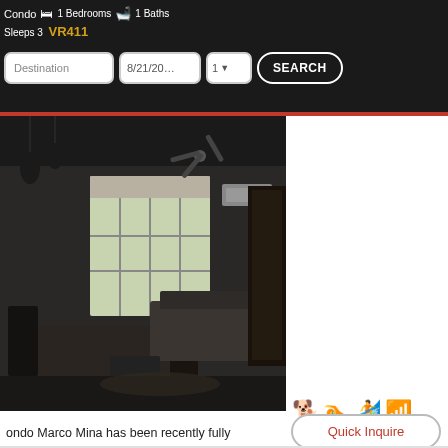Condo | 1 Bedrooms | 1 Baths | Sleeps 3 | VR411 | Destination | 8/21/20… | 1 | SEARCH
[Figure (photo): Interior photo of a condo living/dining room. Dark ambiance with ceiling fan, window with natural light, dining table with chairs, sofa, and air conditioning unit visible.]
ondo Marco Mina has been recently fully novated and ready for your short term or rm rental needs. 1 bedroom with a great ace. there is also a pullout couch in living r guest...
Quick Inquire
View Listing